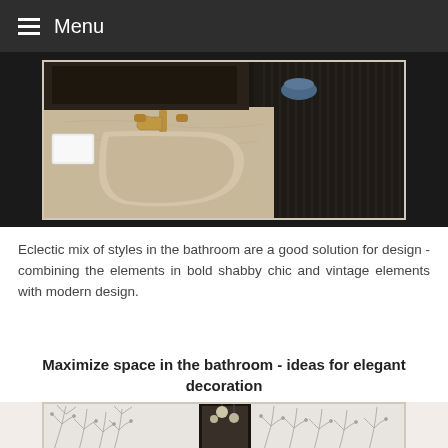Menu
[Figure (photo): Close-up of a luxurious bathroom sink with gold/brass faucet set into a beige travertine countertop, dark wood cabinet or wall panel in the background, white soap dish on the left]
Eclectic mix of styles in the bathroom are a good solution for design - combining the elements in bold shabby chic and vintage elements with modern design.
Maximize space in the bathroom - ideas for elegant decoration
[Figure (photo): Bathroom interior with decorative tree branch wallpaper in black and white pattern, a dark framed mirror, and modern globe pendant lights reflected in it]